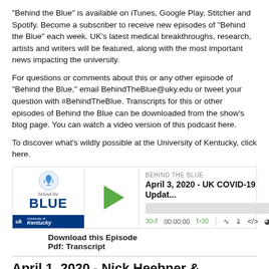"Behind the Blue" is available on iTunes, Google Play, Stitcher and Spotify. Become a subscriber to receive new episodes of "Behind the Blue" each week. UK's latest medical breakthroughs, research, artists and writers will be featured, along with the most important news impacting the university.
For questions or comments about this or any other episode of "Behind the Blue," email BehindTheBlue@uky.edu or tweet your question with #BehindTheBlue. Transcripts for this or other episodes of Behind the Blue can be downloaded from the show's blog page. You can watch a video version of this podcast here.
To discover what’s wildly possible at the University of Kentucky, click here.
[Figure (screenshot): Podcast player widget for 'Behind the Blue' episode: April 3, 2020 - UK COVID-19 Update... with play button, progress bar, and audio controls showing 30s back, 00:00:00 timestamp, 30s forward, and icons for cast, download, embed, and share.]
Download this Episode
Pdf: Transcript
April 1, 2020 - Nick Heebner & Kimberly Tu...